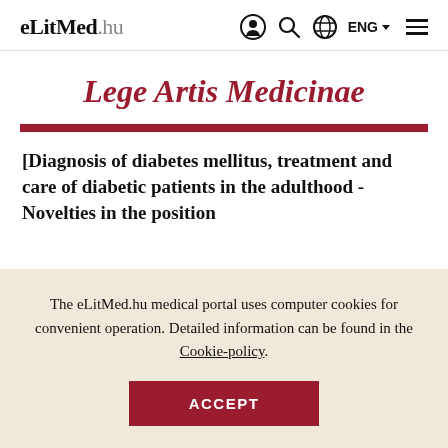eLitMed.hu | ENG
Lege Artis Medicinae
[Diagnosis of diabetes mellitus, treatment and care of diabetic patients in the adulthood - Novelties in the position
The eLitMed.hu medical portal uses computer cookies for convenient operation. Detailed information can be found in the Cookie-policy.
ACCEPT